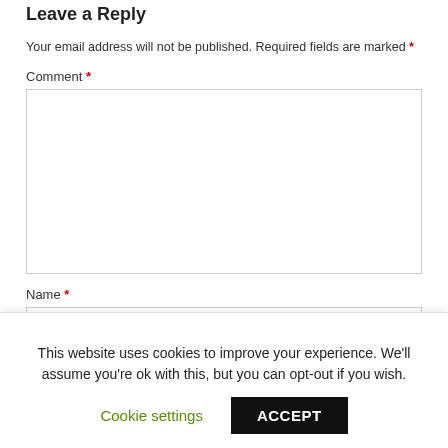Leave a Reply
Your email address will not be published. Required fields are marked *
Comment *
Name *
This website uses cookies to improve your experience. We'll assume you're ok with this, but you can opt-out if you wish.
Cookie settings | ACCEPT